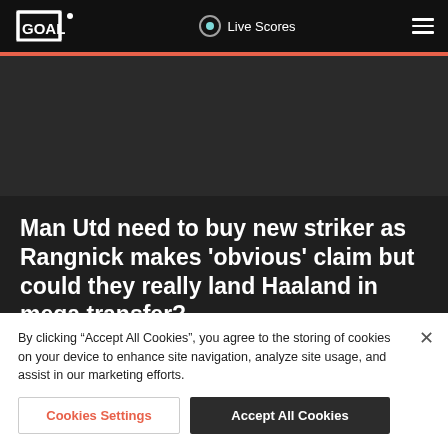GOAL | Live Scores
[Figure (logo): Goal.com logo — white text 'GOAL' with football goal post icon on dark background]
Man Utd need to buy new striker as Rangnick makes 'obvious' claim but could they really land Haaland in mega transfer?
By clicking “Accept All Cookies”, you agree to the storing of cookies on your device to enhance site navigation, analyze site usage, and assist in our marketing efforts.
Cookies Settings | Accept All Cookies